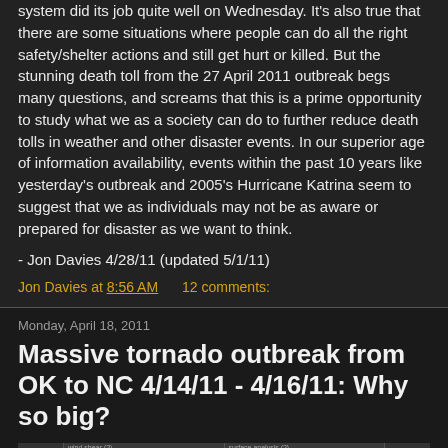system did its job quite well on Wednesday. It's also true that there are some situations where people can do all the right safety/shelter actions and still get hurt or killed. But the stunning death toll from the 27 April 2011 outbreak begs many questions, and screams that this is a prime opportunity to study what we as a society can do to further reduce death tolls in weather and other disaster events. In our superior age of information availability, events within the past 10 years like yesterday's outbreak and 2005's Hurricane Katrina seem to suggest that we as individuals may not be as aware or prepared for disaster as we want to think.
- Jon Davies 4/28/11 (updated 5/1/11)
Jon Davies at 8:56 AM    12 comments:
Monday, April 18, 2011
Massive tornado outbreak from OK to NC 4/14/11 - 4/16/11: Why so big?
[Figure (screenshot): Partial screenshot of a table or image at the bottom of the page]